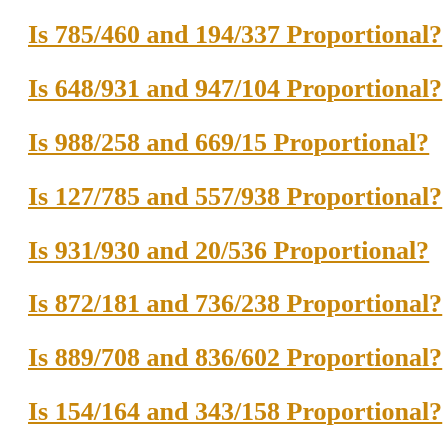Is 785/460 and 194/337 Proportional?
Is 648/931 and 947/104 Proportional?
Is 988/258 and 669/15 Proportional?
Is 127/785 and 557/938 Proportional?
Is 931/930 and 20/536 Proportional?
Is 872/181 and 736/238 Proportional?
Is 889/708 and 836/602 Proportional?
Is 154/164 and 343/158 Proportional?
Is 327/80 and 23/269 Proportional?